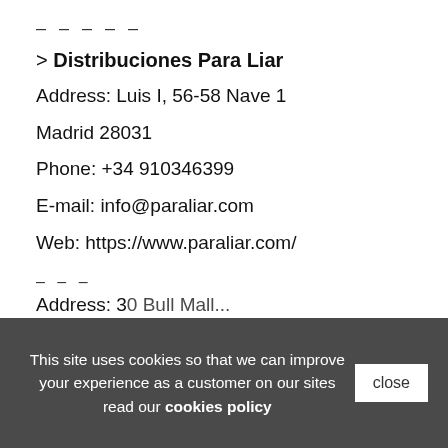– – – – –
> Distribuciones Para Liar
Address: Luis I, 56-58 Nave 1
Madrid 28031
Phone: +34 910346399
E-mail: info@paraliar.com
Web: https://www.paraliar.com/
– – –
UNITED KINGDOM
– – –
Address: 30 Bull Mall...
This site uses cookies so that we can improve your experience as a customer on our sites read our cookies policy
close